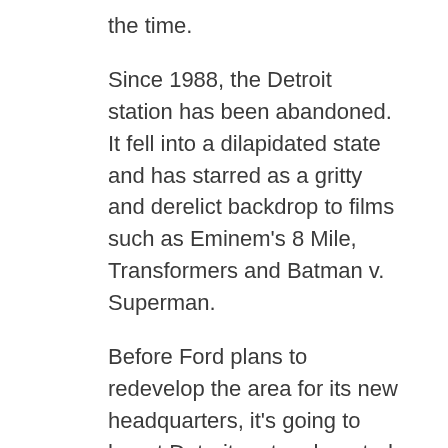the time.
Since 1988, the Detroit station has been abandoned. It fell into a dilapidated state and has starred as a gritty and derelict backdrop to films such as Eminem's 8 Mile, Transformers and Batman v. Superman.
Before Ford plans to redevelop the area for its new headquarters, it's going to haunt Detroiters to a haunted house. For only one day this Halloween season, Ford will turn the depot's first floor into a haunted house. The Ford Motor Company Fund is to provide community services and they will fund the entire haunted experience.
After the Haunted House, Ford plans to redevelop